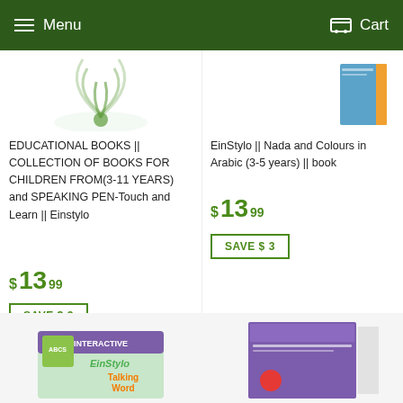Menu   Cart
[Figure (screenshot): Partial product image top-left showing green circular logo/design]
EDUCATIONAL BOOKS || COLLECTION OF BOOKS FOR CHILDREN FROM(3-11 YEARS) and SPEAKING PEN-Touch and Learn || Einstylo
$ 13.99
SAVE $ 3
[Figure (screenshot): Partial product image top-right showing blue/yellow book spine]
EinStylo || Nada and Colours in Arabic (3-5 years) || book
$ 13.99
SAVE $ 3
[Figure (screenshot): Bottom-left: EinStylo Interactive Talking Words product box]
[Figure (screenshot): Bottom-right: Arabic educational book with purple cover]